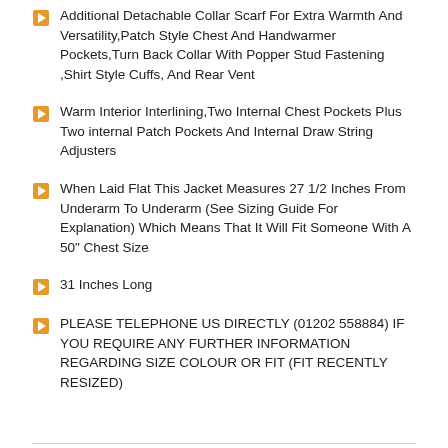Additional Detachable Collar Scarf For Extra Warmth And Versatility,Patch Style Chest And Handwarmer Pockets,Turn Back Collar With Popper Stud Fastening ,Shirt Style Cuffs, And Rear Vent
Warm Interior Interlining,Two Internal Chest Pockets Plus Two internal Patch Pockets And Internal Draw String Adjusters
When Laid Flat This Jacket Measures 27 1/2 Inches From Underarm To Underarm (See Sizing Guide For Explanation) Which Means That It Will Fit Someone With A 50" Chest Size
31 Inches Long
PLEASE TELEPHONE US DIRECTLY (01202 558884) IF YOU REQUIRE ANY FURTHER INFORMATION REGARDING SIZE COLOUR OR FIT (FIT RECENTLY RESIZED)